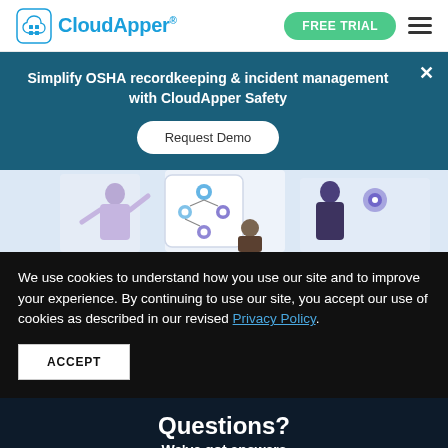[Figure (logo): CloudApper logo with cloud icon and app grid, teal/blue color]
FREE TRIAL
Simplify OSHA recordkeeping & incident management with CloudApper Safety
Request Demo
[Figure (illustration): People interacting with a digital app/workflow diagram showing user hierarchy and settings icons]
We use cookies to understand how you use our site and to improve your experience. By continuing to use our site, you accept our use of cookies as described in our revised Privacy Policy.
ACCEPT
Questions?
We've got answers